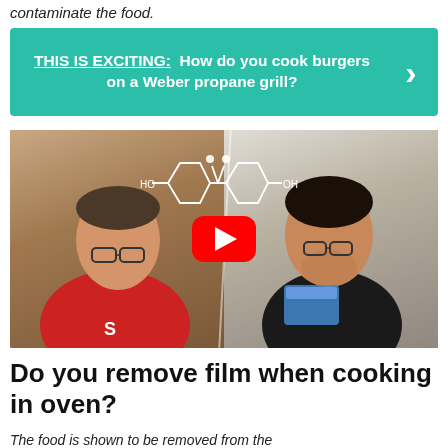contaminate the food.
[Figure (infographic): Teal/green banner with bold white text: 'THIS IS EXCITING: How do you cook burgers on a Weber propane grill?' with a white right-arrow chevron on the right side.]
[Figure (screenshot): Video thumbnail showing two men in a kitchen — one in a red shirt on the left, one in a black shirt on the right holding a blue container — with a chemical molecular structure (BPA/bisphenol) overlaid in white lines, and a YouTube play button in the center.]
Do you remove film when cooking in oven?
The food is shown to be removed from the